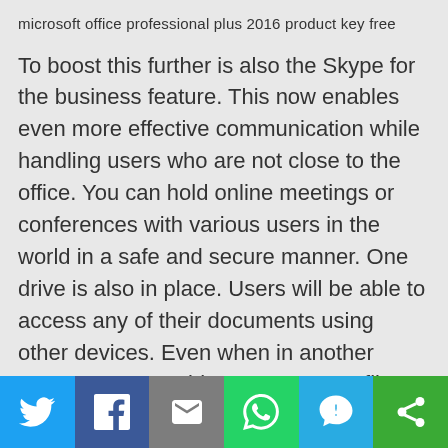microsoft office professional plus 2016 product key free
To boost this further is also the Skype for the business feature. This now enables even more effective communication while handling users who are not close to the office. You can hold online meetings or conferences with various users in the world in a safe and secure manner. One drive is also in place. Users will be able to access any of their documents using other devices. Even when in another country you are able to access you files and folders. All you need to do is to download the files. Office work prioritized even the emails. Missing out on important emails can be very tragic to a business. In place is the clutter feature that gives priority to important mails
[Figure (infographic): Social sharing bar with six buttons: Twitter (blue), Facebook (dark blue), Email (grey), WhatsApp (green), SMS (light blue), More/share (dark green)]